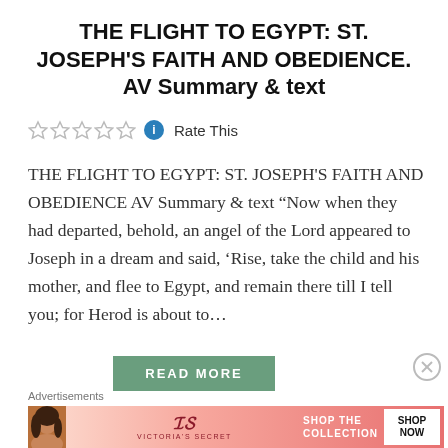THE FLIGHT TO EGYPT: ST. JOSEPH'S FAITH AND OBEDIENCE. AV Summary & text
Rate This
THE FLIGHT TO EGYPT: ST. JOSEPH'S FAITH AND OBEDIENCE AV Summary & text “Now when they had departed, behold, an angel of the Lord appeared to Joseph in a dream and said, ‘Rise, take the child and his mother, and flee to Egypt, and remain there till I tell you; for Herod is about to…
READ MORE
Advertisements
[Figure (other): Victoria's Secret advertisement banner with model, VS logo, 'SHOP THE COLLECTION' text and 'SHOP NOW' button]